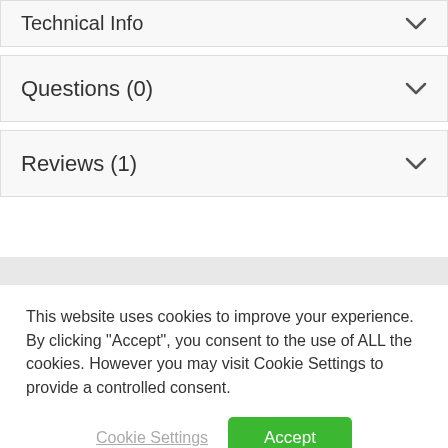Technical Info
Questions (0)
Reviews (1)
This website uses cookies to improve your experience. By clicking “Accept”, you consent to the use of ALL the cookies. However you may visit Cookie Settings to provide a controlled consent.
Cookie Settings
Accept